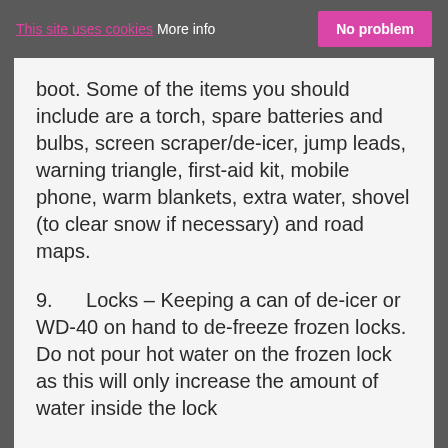This site uses cookies More info | No problem
boot. Some of the items you should include are a torch, spare batteries and bulbs, screen scraper/de-icer, jump leads, warning triangle, first-aid kit, mobile phone, warm blankets, extra water, shovel (to clear snow if necessary) and road maps.
9.      Locks – Keeping a can of de-icer or WD-40 on hand to de-freeze frozen locks. Do not pour hot water on the frozen lock as this will only increase the amount of water inside the lock